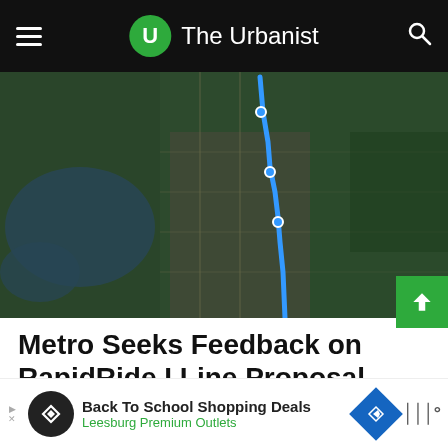The Urbanist
[Figure (map): Satellite map showing a route (blue line) through Renton, Kent, and Auburn area in King County, Washington. The route runs roughly north-south through the urban area.]
Metro Seeks Feedback on RapidRide I Line Proposal Linking Renton, Kent, and Auburn
King County Metro has released a draft proposal for the RapidRide I Line that would stretch from the Downtown Renton to Downtown Auburn. Along the way, the route
[Figure (infographic): Advertisement banner: Back To School Shopping Deals - Leesburg Premium Outlets]